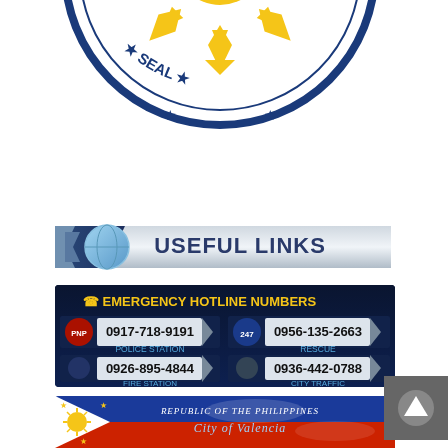[Figure (logo): Philippine Transparency Seal circular logo with sun and stars in navy blue and yellow/gold colors, partially cropped at top]
[Figure (infographic): Useful Links banner with blue metallic design and globe icon]
[Figure (infographic): Emergency Hotline Numbers panel on dark blue background showing: Police Station 0917-718-9191, Rescue 0956-135-2663, Fire Station 0926-895-4844, City Traffic 0936-442-0788]
[Figure (infographic): Republic of the Philippines - City of Valencia banner with Philippine flag design in red, blue, yellow and white]